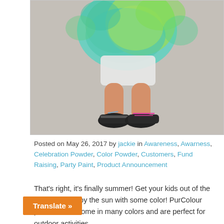[Figure (photo): Child's lower body covered in colorful (teal and yellow-green) powder paint, wearing sneakers with pink laces, standing on pavement.]
Posted on May 26, 2017 by jackie in Awareness, Awarness, Celebration Powder, Color Powder, Customers, Fund Raising, Party Paint, Product Announcement
That’s right, it’s finally summer! Get your kids out of the house and enjoy the sun with some color! PurColour products can come in many colors and are perfect for outdoor activities. [Colored] Powder and more can help kick off your [...]ur products for your cities festivals, for your